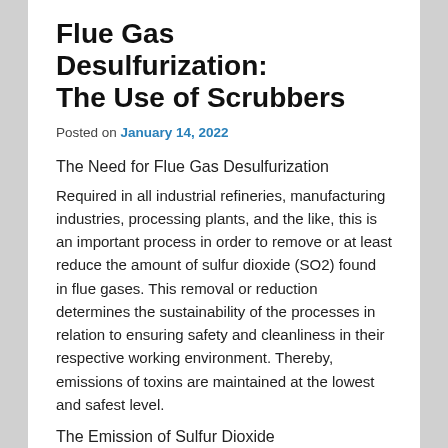Flue Gas Desulfurization: The Use of Scrubbers
Posted on January 14, 2022
The Need for Flue Gas Desulfurization
Required in all industrial refineries, manufacturing industries, processing plants, and the like, this is an important process in order to remove or at least reduce the amount of sulfur dioxide (SO2) found in flue gases. This removal or reduction determines the sustainability of the processes in relation to ensuring safety and cleanliness in their respective working environment. Thereby, emissions of toxins are maintained at the lowest and safest level.
The Emission of Sulfur Dioxide
In processing plants, for example, where coal, oil and the like are used, contain great levels of sulfur, which when